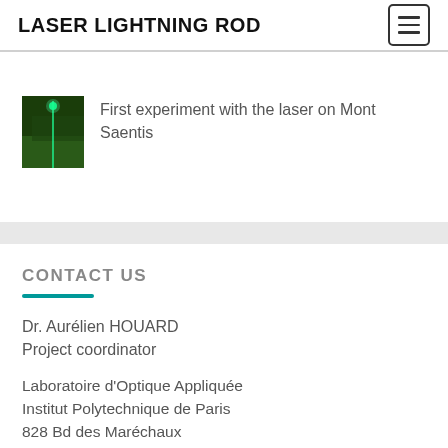LASER LIGHTNING ROD
[Figure (photo): Thumbnail photo of a laser beam on a mountain background]
First experiment with the laser on Mont Saentis
CONTACT US
Dr. Aurélien HOUARD
Project coordinator
Laboratoire d'Optique Appliquée
Institut Polytechnique de Paris
828 Bd des Maréchaux